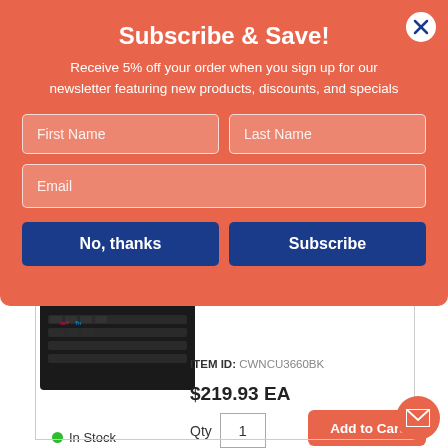[Figure (screenshot): Subscribe & Save modal popup overlay on an e-commerce product page. Modal has coral/salmon background with white text, two name fields, email field, No thanks and Subscribe buttons. Below the modal is a product listing showing a keyboard with Item ID CWNCU3660BK, price $219.93 EA, quantity 1, Add to Cart button, and In Stock indicator.]
Subscribe & Save!
Receive 5% off your order when you sign up for our newsletter featuring new products, discounts, and specials
First Name
Last Name
Email
No, thanks
Subscribe
ITEM ID: CWNCU3660BK
$219.93 EA
Qty  1
Add to Cart
In Stock